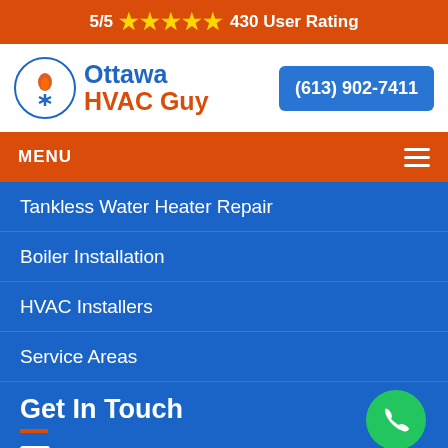5/5 ★★★★★ 430 User Rating
[Figure (logo): Ottawa HVAC Guy logo with circular flame/snowflake icon]
(613) 902-7411
MENU
Tankless Water Heater Repair
Boiler Installation
HVAC Installers
Service Areas
Get In Touch
Send Us Email
(613) 902-7411